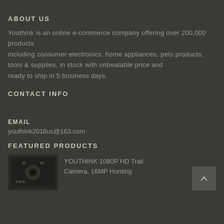ABOUT US
Youthink is an online e-commerce company offering over 200,000 products including consumer electronics, home appliances, pets products, tools & supplies, in stock with unbeatable price and ready to ship in 5 business days.
CONTACT INFO
EMAIL
youthink2016us@163.com
FEATURED PRODUCTS
YOUTHINK 1080P HD Trail Camera, 16MP Hunting
[Figure (photo): Trail camera product photo, dark background]